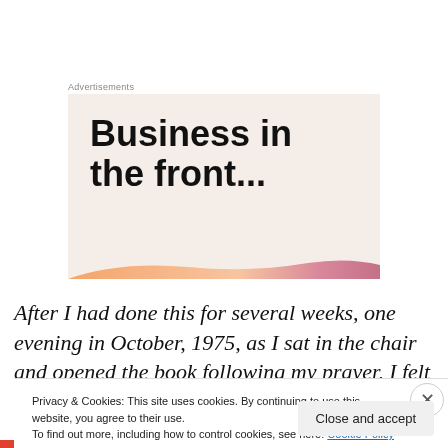Advertisements
[Figure (illustration): Advertisement banner with large bold text 'Business in the front...' on a light pink/beige background with a colorful stripe at the bottom (orange, peach, rose gradient).]
After I had done this for several weeks, one evening in October, 1975, as I sat in the chair and opened the book following my prayer, I felt a marvelous spirit come into the
Privacy & Cookies: This site uses cookies. By continuing to use this website, you agree to their use.
To find out more, including how to control cookies, see here: Cookie Policy